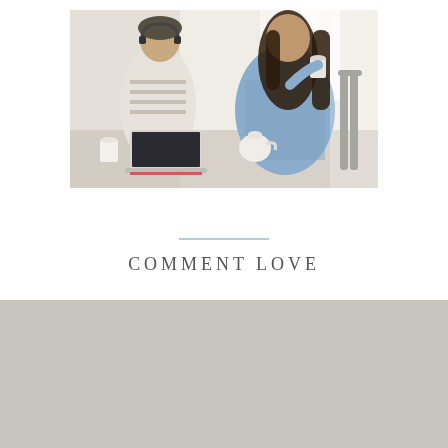[Figure (photo): Two women sitting at a cafe table with a laptop; one wearing headphones and a striped top, the other in a denim jacket holding a cup. Bright, airy lighting. Photo cropped to show upper half of scene.]
COMMENT LOVE
[Figure (other): Gray rectangular block at the bottom of the page, representing a footer area or section divider.]